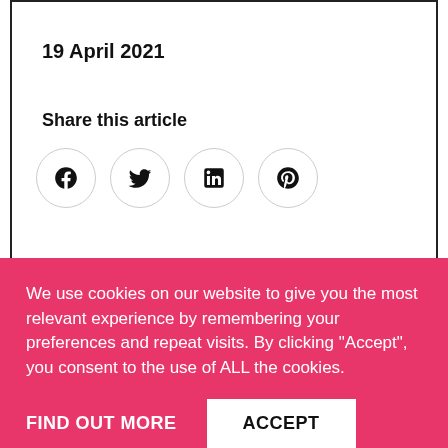19 April 2021
Share this article
[Figure (other): Social media share icons: Facebook, Twitter, LinkedIn, Pinterest — each in a circular outline button]
Photography by
We use cookies on our website to give you the most relevant experience by remembering your preferences and repeat visits. By clicking “Accept”, you consent to the use of ALL the cookies.
FIND OUT MORE
ACCEPT